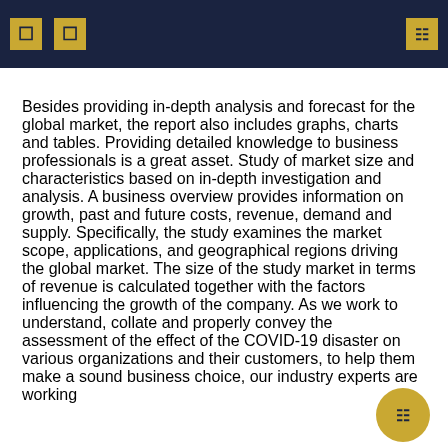Besides providing in-depth analysis and forecast for the global market, the report also includes graphs, charts and tables. Providing detailed knowledge to business professionals is a great asset. Study of market size and characteristics based on in-depth investigation and analysis. A business overview provides information on growth, past and future costs, revenue, demand and supply. Specifically, the study examines the market scope, applications, and geographical regions driving the global market. The size of the study market in terms of revenue is calculated together with the factors influencing the growth of the company. As we work to understand, collate and properly convey the assessment of the effect of the COVID-19 disaster on various organizations and their customers, to help them make a sound business choice, our industry experts are working